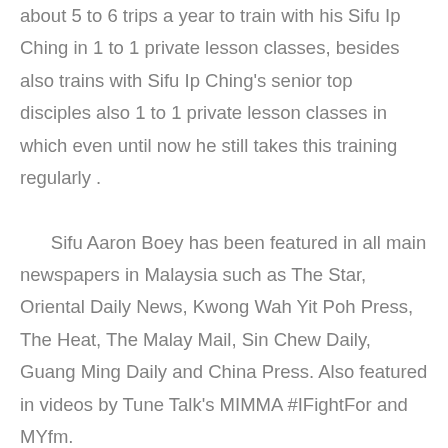about 5 to 6 trips a year to train with his Sifu Ip Ching in 1 to 1 private lesson classes, besides also trains with Sifu Ip Ching's senior top disciples also 1 to 1 private lesson classes in which even until now he still takes this training regularly .     Sifu Aaron Boey has been featured in all main newspapers in Malaysia such as The Star, Oriental Daily News, Kwong Wah Yit Poh Press, The Heat, The Malay Mail, Sin Chew Daily, Guang Ming Daily and China Press. Also featured in videos by Tune Talk's MIMMA #IFightFor and MYfm.